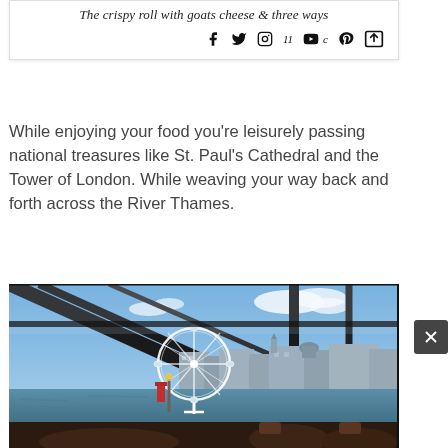The crispy roll with goats cheese & three ways
[Figure (screenshot): Social media icons: Facebook, Twitter, Instagram, YouTube, Pinterest, and a share icon]
While enjoying your food you’re leisurely passing national treasures like St. Paul’s Cathedral and the Tower of London. While weaving your way back and forth across the River Thames.
[Figure (photo): View from inside a glass-roofed boat on the River Thames, showing the London Eye ferris wheel and London skyline including historic buildings, taken on a partly cloudy day]